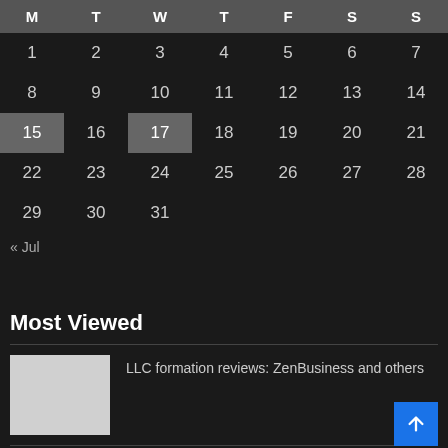| M | T | W | T | F | S | S |
| --- | --- | --- | --- | --- | --- | --- |
| 1 | 2 | 3 | 4 | 5 | 6 | 7 |
| 8 | 9 | 10 | 11 | 12 | 13 | 14 |
| 15 | 16 | 17 | 18 | 19 | 20 | 21 |
| 22 | 23 | 24 | 25 | 26 | 27 | 28 |
| 29 | 30 | 31 |  |  |  |  |
« Jul
Most Viewed
LLC formation reviews: ZenBusiness and others
Global Industry Analysts Predicts the World Customer Relationship...